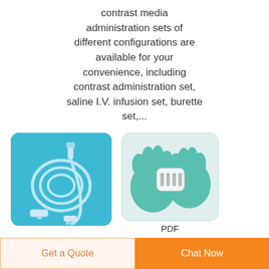contrast media administration sets of different configurations are available for your convenience, including contrast administration set, saline I.V. infusion set, burette set,...
[Figure (photo): Medical IV infusion tubing set with connector on a blue background]
[Figure (photo): Gloved hands holding a white medical device or cap]
PDF
Ending Infusi...
Feb 01 2012  The  BREVITAL SO...